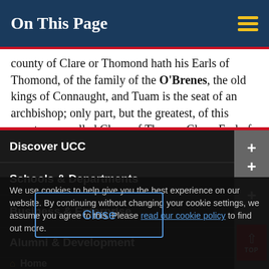On This Page
county of Clare or Thomond hath his Earls of Thomond, of the family of the O'Brenes, the old kings of Connaught, and Tuam is the seat of an archbishop; only part, but the greatest, of this county was called Clare, of Thomas Clare, Earl of Gloucester. 150 The
Discover UCC
Schools & Departments
We use cookies to help give you the best experience on our website. By continuing without changing your cookie settings, we assume you agree to this. Please read our cookie policy to find out more.
Business & Enterprise
Alumni & Development
Close
Home